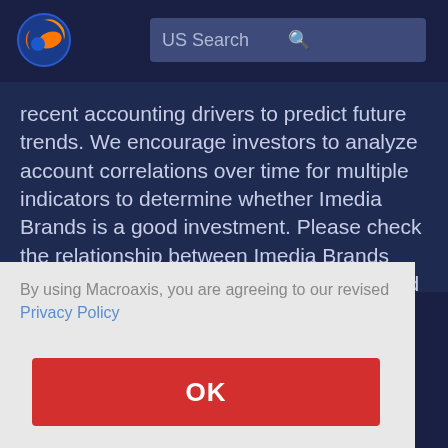[Figure (logo): Macroaxis globe logo with orange and blue colors]
US Search
recent accounting drivers to predict future trends. We encourage investors to analyze account correlations over time for multiple indicators to determine whether Imedia Brands is a good investment. Please check the relationship between Imedia Brands Cash and Equivalents and its Goodwill and Intangible Assets
By using Macroaxis, you are agreeing to our revised Privacy Policy
OK